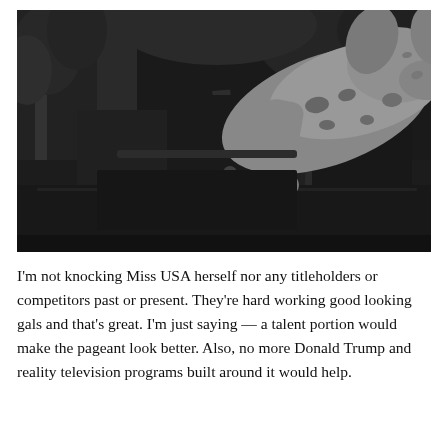[Figure (photo): Black and white photograph showing a dog or animal leaning out of or over a vintage car, with foliage in the background. The animal's paw/leg is visible over the car's roof and window frame.]
I'm not knocking Miss USA herself nor any titleholders or competitors past or present. They're hard working good looking gals and that's great. I'm just saying — a talent portion would make the pageant look better. Also, no more Donald Trump and reality television programs built around it would help.